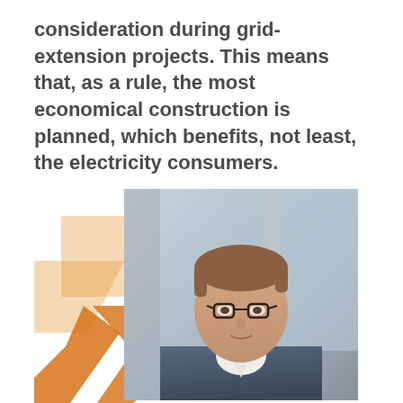consideration during grid-extension projects. This means that, as a rule, the most economical construction is planned, which benefits, not least, the electricity consumers.
[Figure (photo): Professional headshot of a middle-aged man with glasses and short brown hair, wearing a blue blazer and white shirt, with an orange decorative logo/mark in the lower left foreground]